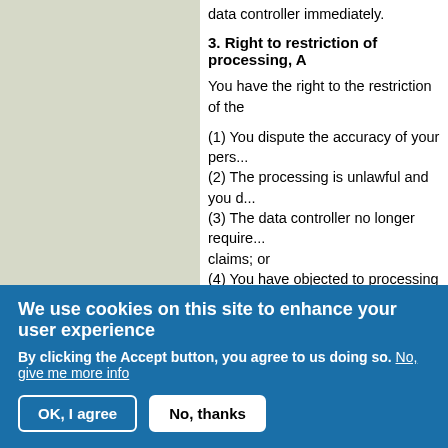data controller immediately.
3. Right to restriction of processing, A...
You have the right to the restriction of the...
(1) You dispute the accuracy of your pers...
(2) The processing is unlawful and you d...
(3) The data controller no longer require... claims; or
(4) You have objected to processing as p...
Where the processing of your personal d... defense against claims or for the upholdi...
Where processing is restricted in accorda...
4. Right to deletion, Art. 17 GDPR
a) Obligation to delete
You have the right to the immediate delet...
1. The data concerned is no longer requi...
2. You revoke the consent on which unde...
We use cookies on this site to enhance your user experience
By clicking the Accept button, you agree to us doing so. No, give me more info
OK, I agree   No, thanks